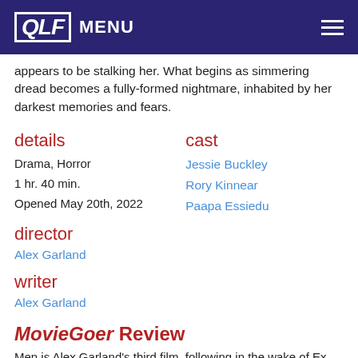QLF MENU
appears to be stalking her. What begins as simmering dread becomes a fully-formed nightmare, inhabited by her darkest memories and fears.
details
Drama, Horror
1 hr. 40 min.
Opened May 20th, 2022
cast
Jessie Buckley
Rory Kinnear
Paapa Essiedu
director
Alex Garland
writer
Alex Garland
MovieGoer Review
Men is Alex Garland's third film, following in the wake of Ex Machina and Annihilation. It is his least accessible production to-date, venturing into the psychotic horror hinterlands where someone like Roman Avery of dolore the inside little MORE